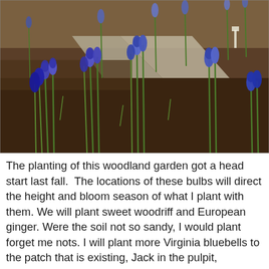[Figure (photo): Outdoor garden photograph showing blue/purple grape hyacinth (Muscari) flowers growing in rows along a dirt path with concrete stepping stones, surrounded by brown soil and sparse grass in bright sunlight.]
The planting of this woodland garden got a head start last fall.  The locations of these bulbs will direct the height and bloom season of what I plant with them. We will plant sweet woodriff and European ginger. Were the soil not so sandy, I would plant forget me nots. I will plant more Virginia bluebells to the patch that is existing, Jack in the pulpit, Dutchman's britches, anemone sylvestris, campanula porscharskyana, lamium white nancy, and so